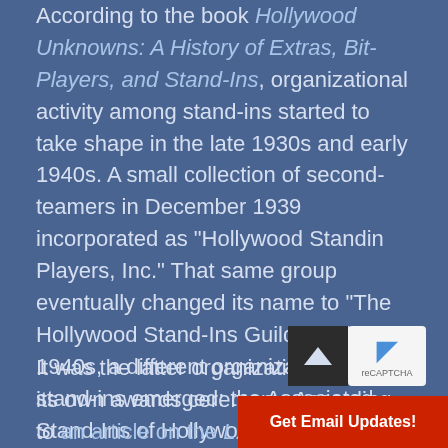According to the book Hollywood Unknowns: A History of Extras, Bit-Players, and Stand-Ins, organizational activity among stand-ins started to take shape in the late 1930s and early 1940s. A small collection of second-teamers in December 1939 incorporated as "Hollywood Standin Players, Inc." That same group eventually changed its name to "The Hollywood Stand-Ins Guild." In the 1940s, a different organization of stand-ins emerged: the Associated Stand-Ins of Hollywood.
It was the latter organization that had its own awards ceremony. According to an article on the L.A. Daily Mirror website, the Associated Stand-Ins of Hollywood started hosting their own awards ceremony — the Elmer Awards — in 1947. But…